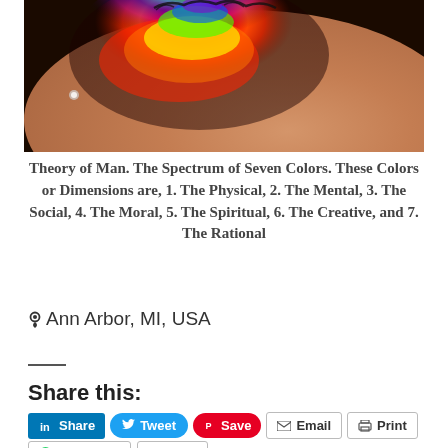[Figure (photo): Close-up photo of a human eye or face area with a rainbow light spectrum projected onto the skin, showing vivid red, orange, yellow, green, blue and purple colors against dark background]
Theory of Man. The Spectrum of Seven Colors. These Colors or Dimensions are, 1. The Physical, 2. The Mental, 3. The Social, 4. The Moral, 5. The Spiritual, 6. The Creative, and 7. The Rational
Ann Arbor, MI, USA
Share this:
Share  Tweet  Save  Email  Print  WhatsApp  More